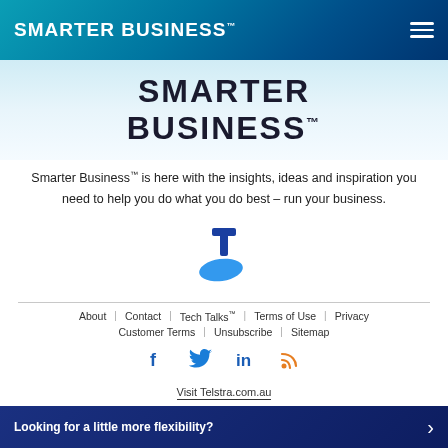SMARTER BUSINESS™
[Figure (logo): Partial Smarter Business logo text showing SMARTER / BUSINESS™ in dark bold letters on light blue background]
Smarter Business™ is here with the insights, ideas and inspiration you need to help you do what you do best – run your business.
[Figure (logo): Telstra logo: blue T shape with blue oval swoosh below]
About   Contact   Tech Talks™   Terms of Use   Privacy   Customer Terms   Unsubscribe   Sitemap
[Figure (infographic): Social media icons: Facebook (f), Twitter (bird), LinkedIn (in), RSS feed - in blue and orange]
Visit Telstra.com.au
Looking for a little more flexibility?